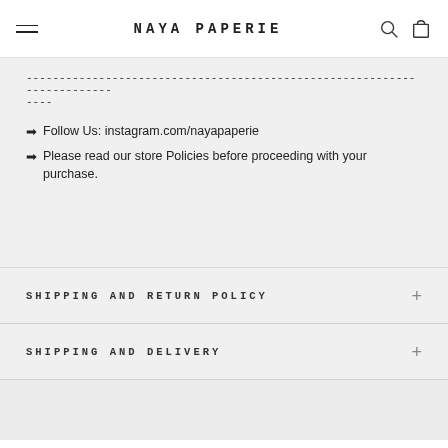NAYA PAPERIE
------------------------------------------------------------------------
----
➡ Follow Us: instagram.com/nayapaperie
➡ Please read our store Policies before proceeding with your purchase.
SHIPPING AND RETURN POLICY
SHIPPING AND DELIVERY